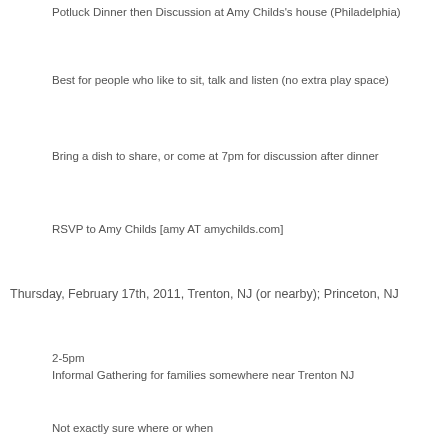Potluck Dinner then Discussion at Amy Childs's house (Philadelphia)
Best for people who like to sit, talk and listen (no extra play space)
Bring a dish to share, or come at 7pm for discussion after dinner
RSVP to Amy Childs [amy AT amychilds.com]
Thursday, February 17th, 2011, Trenton, NJ (or nearby); Princeton, NJ
2-5pm
Informal Gathering for families somewhere near Trenton NJ
Not exactly sure where or when